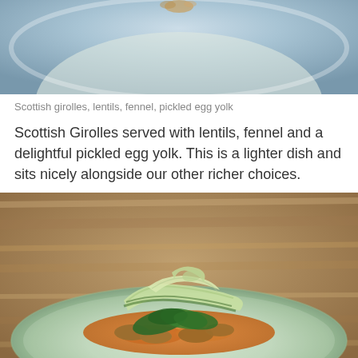[Figure (photo): Top portion of a blue ceramic plate on a wooden surface, showing the rim of a dish with food, cropped at the bottom]
Scottish girolles, lentils, fennel, pickled egg yolk
Scottish Girolles served with lentils, fennel and a delightful pickled egg yolk. This is a lighter dish and sits nicely alongside our other richer choices.
[Figure (photo): A light green ceramic plate on a wooden surface, plated with golden-seared girolle mushrooms in an orange sauce, topped with wilted greens and ribbons of thinly-sliced courgette/zucchini]